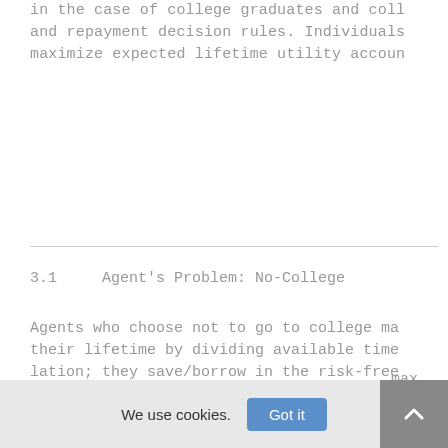in the case of college graduates and college and repayment decision rules. Individuals maximize expected lifetime utility accoun
3.1     Agent's Problem: No-College
Agents who choose not to go to college ma their lifetime by dividing available time lation; they save/borrow in the risk-free described in Ben-Porath (1967) except for and risk aversion. The problem is given b
max
We use cookies.
Got it